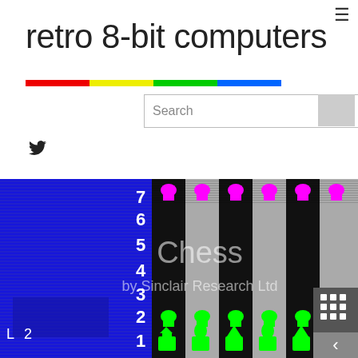retro 8-bit computers
[Figure (screenshot): Sinclair ZX Spectrum Chess game screenshot showing a chessboard with row numbers 1-7 visible, magenta pawns on row 7, green pawns on row 2, blue striped background on left side, overlaid text 'Chess by Sinclair Research Ltd']